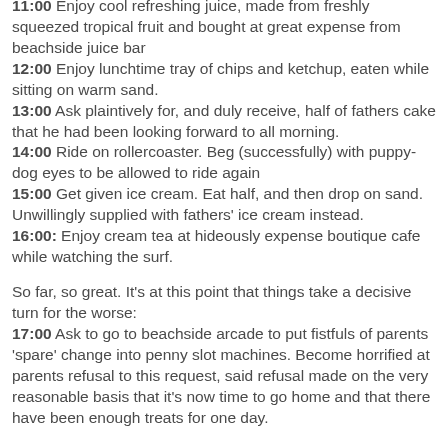11:00 Enjoy cool refreshing juice, made from freshly squeezed tropical fruit and bought at great expense from beachside juice bar
12:00 Enjoy lunchtime tray of chips and ketchup, eaten while sitting on warm sand.
13:00 Ask plaintively for, and duly receive, half of fathers cake that he had been looking forward to all morning.
14:00 Ride on rollercoaster. Beg (successfully) with puppy-dog eyes to be allowed to ride again
15:00 Get given ice cream. Eat half, and then drop on sand. Unwillingly supplied with fathers' ice cream instead.
16:00: Enjoy cream tea at hideously expense boutique cafe while watching the surf.
So far, so great. It's at this point that things take a decisive turn for the worse:
17:00 Ask to go to beachside arcade to put fistfuls of parents 'spare' change into penny slot machines. Become horrified at parents refusal to this request, said refusal made on the very reasonable basis that it's now time to go home and that there have been enough treats for one day.